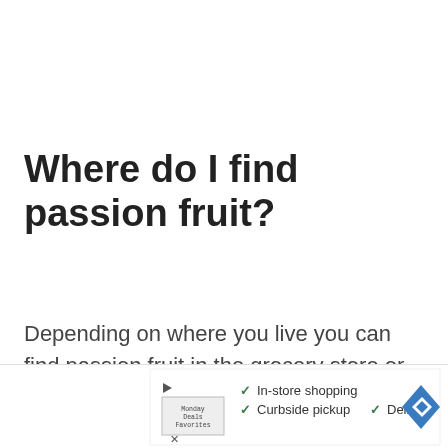Where do I find passion fruit?
Depending on where you live you can find passion fruit in the grocery store or at farmers markets. You can also sometimes find it on Amazon.
[Figure (other): Advertisement banner showing a grocery store logo with play button, checkmarks for In-store shopping, Curbside pickup, and Delivery, and a blue diamond navigation icon.]